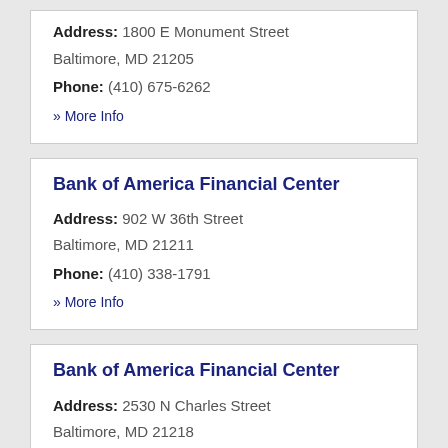Address: 1800 E Monument Street Baltimore, MD 21205
Phone: (410) 675-6262
» More Info
Bank of America Financial Center
Address: 902 W 36th Street Baltimore, MD 21211
Phone: (410) 338-1791
» More Info
Bank of America Financial Center
Address: 2530 N Charles Street Baltimore, MD 21218